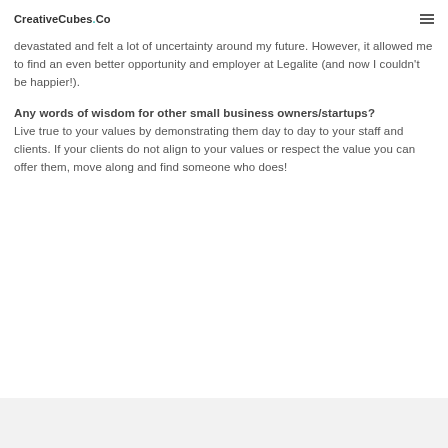CreativeCubes.Co
devastated and felt a lot of uncertainty around my future. However, it allowed me to find an even better opportunity and employer at Legalite (and now I couldn't be happier!).
Any words of wisdom for other small business owners/startups? Live true to your values by demonstrating them day to day to your staff and clients. If your clients do not align to your values or respect the value you can offer them, move along and find someone who does!